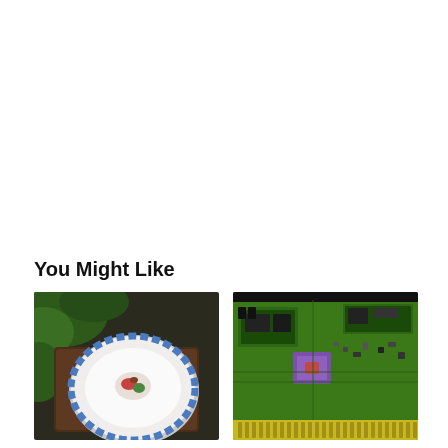You Might Like
[Figure (photo): Top-down photo of a white plate with blue decorative rim containing a small garnished dish, placed on a dark wooden board surrounded by green foliage.]
This cake has almost no calories and it doesn't look
[Figure (photo): Close-up photo of a green circuit board with electronic components, chips, and a yellow edge connector — appears to be a computer expansion card.]
The last non-Macintosh computer ever